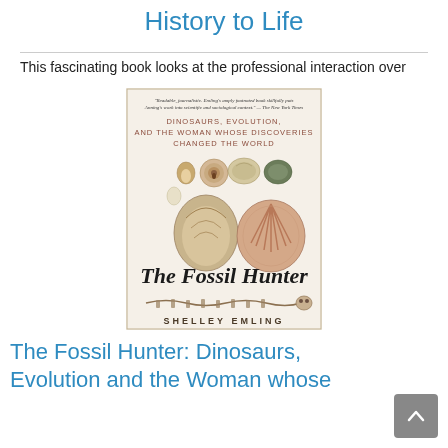History to Life
This fascinating book looks at the professional interaction over
[Figure (photo): Book cover of 'The Fossil Hunter: Dinosaurs, Evolution, and the Woman Whose Discoveries Changed the World' by Shelley Emling, featuring illustrations of fossils and shells on a cream background]
The Fossil Hunter: Dinosaurs, Evolution and the Woman whose